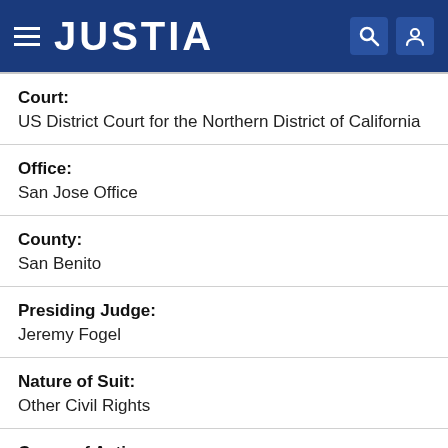JUSTIA
Court: US District Court for the Northern District of California
Office: San Jose Office
County: San Benito
Presiding Judge: Jeremy Fogel
Nature of Suit: Other Civil Rights
Cause of Action: 42 U.S.C. § 1983